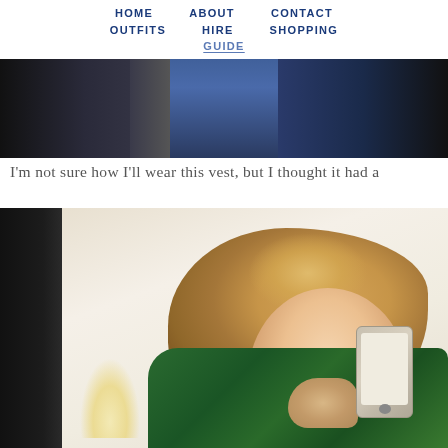HOME   ABOUT   CONTACT   OUTFITS   HIRE   SHOPPING   GUIDE
[Figure (photo): Top banner strip showing partial fashion/clothing images in dark tones with blue center panel]
I'm not sure how I'll wear this vest, but I thought it had a
[Figure (photo): Woman with short wavy blonde hair taking a mirror selfie with an iPhone, wearing a green plaid shirt, smiling, red nail polish, gold necklace visible]